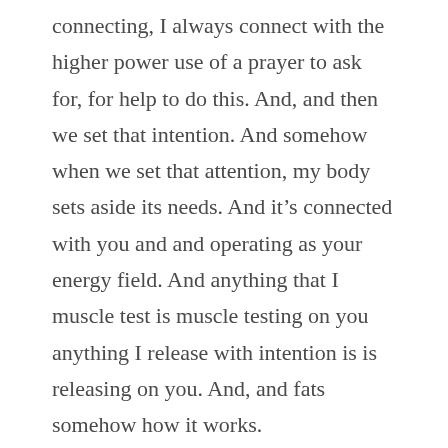connecting, I always connect with the higher power use of a prayer to ask for, for help to do this. And, and then we set that intention. And somehow when we set that attention, my body sets aside its needs. And it's connected with you and and operating as your energy field. And anything that I muscle test is muscle testing on you anything I release with intention is is releasing on you. And, and fats somehow how it works.
Yeah, it's almost like it's what I would hear you say like, Is it this? Is it this like, as you were muscle testing? But then you would say like, okay, so there was two parts of it. One is that